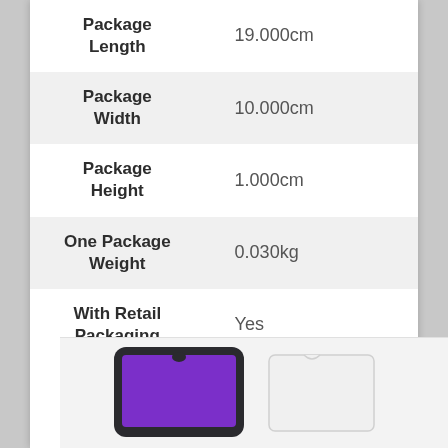| Attribute | Value |
| --- | --- |
| Package Length | 19.000cm |
| Package Width | 10.000cm |
| Package Height | 1.000cm |
| One Package Weight | 0.030kg |
| With Retail Packaging | Yes |
[Figure (photo): A smartphone with a purple screen next to a clear screen protector]